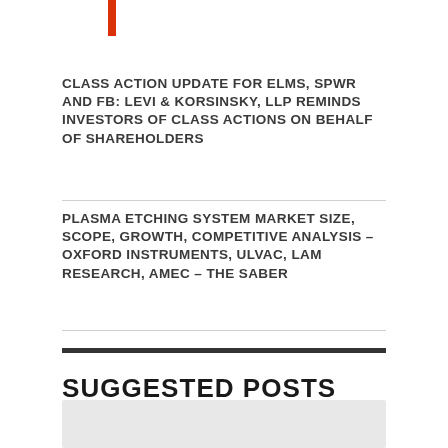CLASS ACTION UPDATE FOR ELMS, SPWR AND FB: LEVI & KORSINSKY, LLP REMINDS INVESTORS OF CLASS ACTIONS ON BEHALF OF SHAREHOLDERS
PLASMA ETCHING SYSTEM MARKET SIZE, SCOPE, GROWTH, COMPETITIVE ANALYSIS – OXFORD INSTRUMENTS, ULVAC, LAM RESEARCH, AMEC – THE SABER
SUGGESTED POSTS